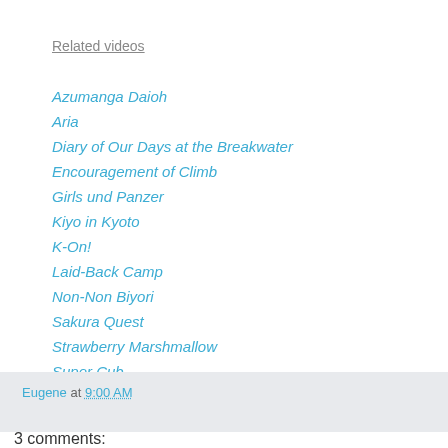Related videos
Azumanga Daioh
Aria
Diary of Our Days at the Breakwater
Encouragement of Climb
Girls und Panzer
Kiyo in Kyoto
K-On!
Laid-Back Camp
Non-Non Biyori
Sakura Quest
Strawberry Marshmallow
Super Cub
Eugene at 9:00 AM
3 comments: